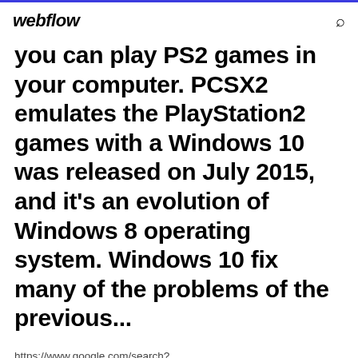webflow
you can play PS2 games in your computer. PCSX2 emulates the PlayStation2 games with a Windows 10 was released on July 2015, and it's an evolution of Windows 8 operating system. Windows 10 fix many of the problems of the previous...
https://www.google.com/search?num=100&q=emulator+ps2+windows+10&tbm=isch&sou
http://aliensquirrels.net/xmzfdvk/redream-emulator-android-apk.html
https://books.google.ca/books?